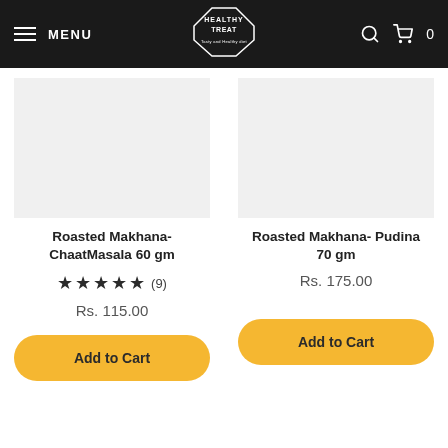MENU | HEALTHY TREAT | 0
Roasted Makhana- ChaatMasala 60 gm
★★★★★ (9)
Rs. 115.00
Roasted Makhana- Pudina 70 gm
Rs. 175.00